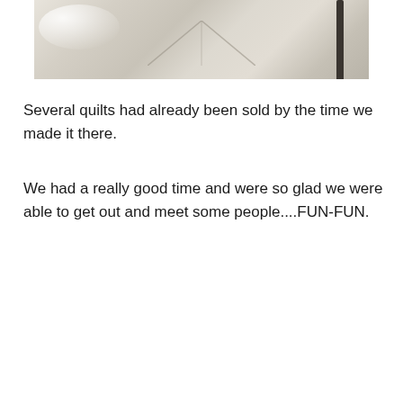[Figure (photo): Partial view of a concrete or stone floor with faint geometric pattern lines and a dark vertical pole/post visible at upper right. There is a bright glare/reflection in the upper left area.]
Several quilts had already been sold by the time we made it there.
We had a really good time and were so glad we were able to get out and meet some people....FUN-FUN.